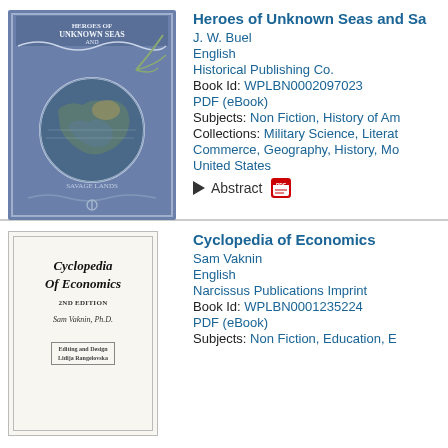[Figure (photo): Book cover of 'Heroes of Unknown Seas and Savage Lands' — blue decorative cover with globe and ocean imagery]
Heroes of Unknown Seas and Sa...
J. W. Buel
English
Historical Publishing Co.
Book Id: WPLBN0002097023
PDF (eBook)
Subjects: Non Fiction, History of Am...
Collections: Military Science, Literat... Commerce, Geography, History, Mo... United States
Abstract
[Figure (photo): Book cover of 'Cyclopedia of Economics' — text-only cover with italic title, edition info, author Sam Vaknin Ph.D., and publisher]
Cyclopedia of Economics
Sam Vaknin
English
Narcissus Publications Imprint
Book Id: WPLBN0001235224
PDF (eBook)
Subjects: Non Fiction, Education, E...